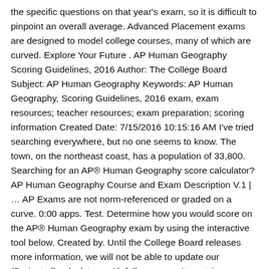the specific questions on that year's exam, so it is difficult to pinpoint an overall average. Advanced Placement exams are designed to model college courses, many of which are curved. Explore Your Future . AP Human Geography Scoring Guidelines, 2016 Author: The College Board Subject: AP Human Geography Keywords: AP Human Geography, Scoring Guidelines, 2016 exam, exam resources; teacher resources; exam preparation; scoring information Created Date: 7/15/2016 10:15:16 AM I've tried searching everywhere, but no one seems to know. The town, on the northeast coast, has a population of 33,800. Searching for an AP® Human Geography score calculator? AP Human Geography Course and Exam Description V.1 | … AP Exams are not norm-referenced or graded on a curve. 0:00 apps. Test. Determine how you would score on the AP® Human Geography exam by using the interactive tool below. Created by. Until the College Board releases more information, we will not be able to update our (Projected) calculators with full accuracy. It contains a multiple-choice section and a free-response section. Thanks. AP Human